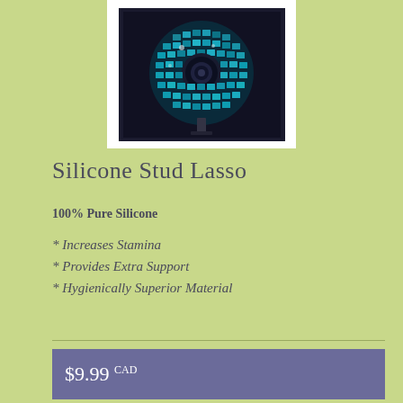[Figure (photo): Product image showing a disco ball-like object with blue/teal mosaic tiles and a dark center, displayed on white background]
Silicone Stud Lasso
100% Pure Silicone
* Increases Stamina
* Provides Extra Support
* Hygienically Superior Material
$9.99 CAD
Tax: $1.10 CAD